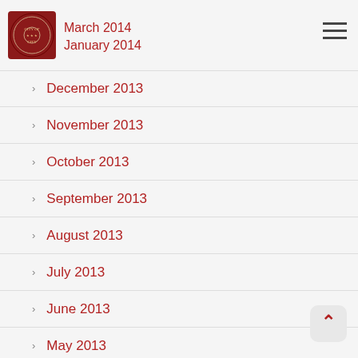March 2014 | January 2014
December 2013
November 2013
October 2013
September 2013
August 2013
July 2013
June 2013
May 2013
April 2013
March 2013
February 2013
December 2012
October 2012
August 2012
May 2012